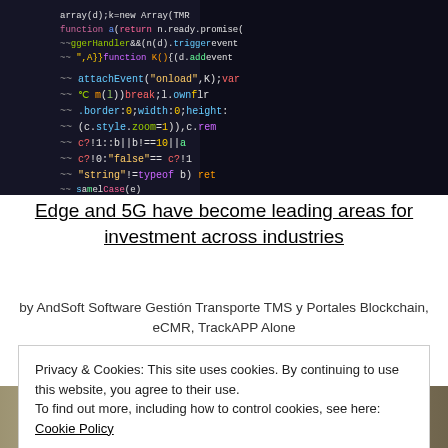[Figure (photo): Close-up photo of a code editor screen showing colorful JavaScript/programming code on a dark background]
Edge and 5G have become leading areas for investment across industries
by AndSoft Software Gestión Transporte TMS y Portales Blockchain, eCMR, TrackAPP Alone
Privacy & Cookies: This site uses cookies. By continuing to use this website, you agree to their use.
To find out more, including how to control cookies, see here: Cookie Policy
[Figure (photo): Partially visible photo at the bottom of the page, appears to show some objects on a surface]